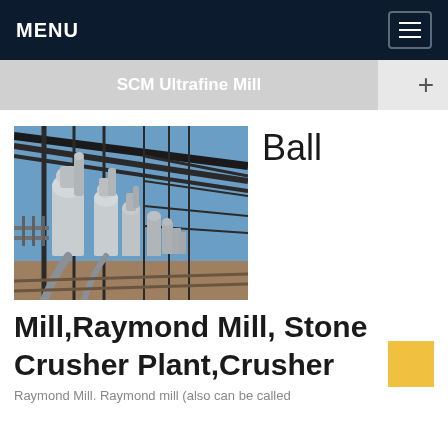MENU
SCM Ultrafine Mill
[Figure (photo): Row of industrial mill/grinding machines with white cylindrical hoppers and pipes, inside a steel-framed industrial facility, outdoors with blue sky visible]
Ball Mill,Raymond Mill, Stone Crusher Plant,Crusher
Raymond Mill. Raymond mill (also can be called